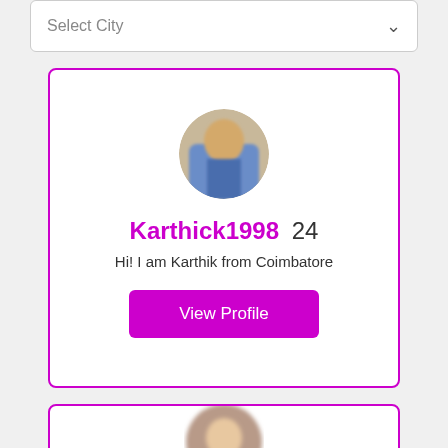Select City
[Figure (photo): Circular blurred profile photo of a person]
Karthick1998 24
Hi! I am Karthik from Coimbatore
View Profile
[Figure (photo): Partial circular blurred profile photo of second user (card partially visible)]